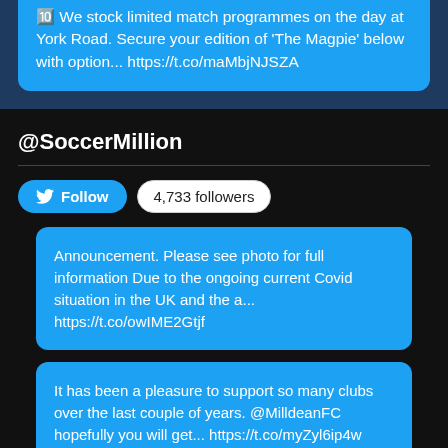🔟 We stock limited match programmes on the day at York Road. Secure your edition of 'The Magpie' below with option... https://t.co/maMbjNJSZA
@SoccerMillion
4,733 followers
Announcement. Please see photo for full information Due to the ongoing current Covid situation in the UK and the a... https://t.co/owIME2Gtjf
It has been a pleasure to support so many clubs over the last couple of years. @MilldeanFC hopefully you will get... https://t.co/myZyl6ip4w